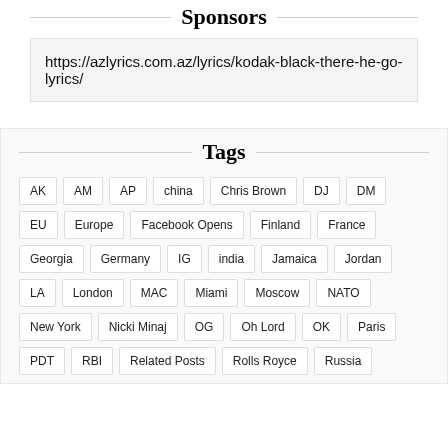Sponsors
https://azlyrics.com.az/lyrics/kodak-black-there-he-go-lyrics/
Tags
AK
AM
AP
china
Chris Brown
DJ
DM
EU
Europe
Facebook Opens
Finland
France
Georgia
Germany
IG
india
Jamaica
Jordan
LA
London
MAC
Miami
Moscow
NATO
New York
Nicki Minaj
OG
Oh Lord
OK
Paris
PDT
RBI
Related Posts
Rolls Royce
Russia